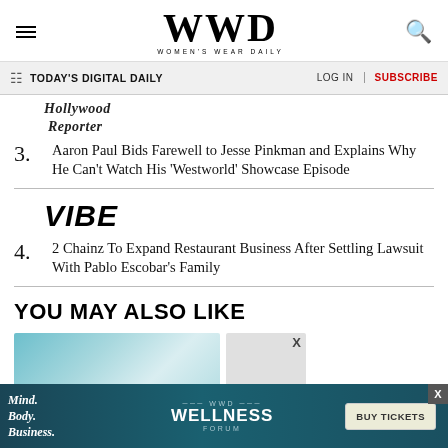WWD WOMEN'S WEAR DAILY
TODAY'S DIGITAL DAILY
[Figure (logo): Hollywood Reporter logo in italic serif font]
3. Aaron Paul Bids Farewell to Jesse Pinkman and Explains Why He Can't Watch His 'Westworld' Showcase Episode
[Figure (logo): VIBE logo in bold italic uppercase sans-serif]
4. 2 Chainz To Expand Restaurant Business After Settling Lawsuit With Pablo Escobar's Family
YOU MAY ALSO LIKE
[Figure (photo): Teal/blue toned image thumbnail on the left]
[Figure (photo): Small image placeholder on the right with X close button]
[Figure (infographic): WWD Wellness Forum advertisement banner: Mind. Body. Business. BUY TICKETS]